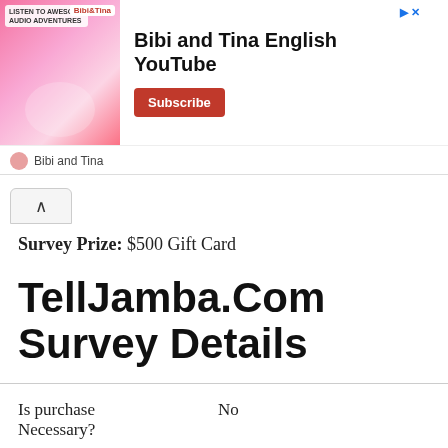[Figure (other): Advertisement banner for Bibi and Tina English YouTube channel with Subscribe button]
Survey Prize: $500 Gift Card
TellJamba.Com Survey Details
| Field | Value |
| --- | --- |
| Is purchase Necessary? | No |
| Age Limit: | 18+ |
| Entry Method: | Online & By Mail |